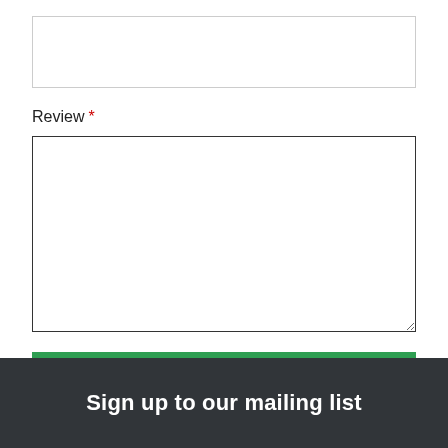[Figure (screenshot): Empty single-line text input box at the top of the form]
Review *
[Figure (screenshot): Large multi-line textarea input box for writing a review]
Submit Review
Sign up to our mailing list